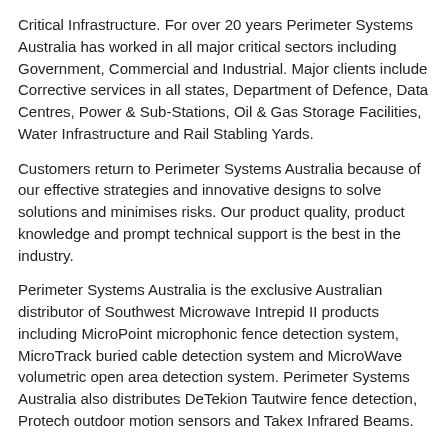Critical Infrastructure. For over 20 years Perimeter Systems Australia has worked in all major critical sectors including Government, Commercial and Industrial. Major clients include Corrective services in all states, Department of Defence, Data Centres, Power & Sub-Stations, Oil & Gas Storage Facilities, Water Infrastructure and Rail Stabling Yards.
Customers return to Perimeter Systems Australia because of our effective strategies and innovative designs to solve solutions and minimises risks. Our product quality, product knowledge and prompt technical support is the best in the industry.
Perimeter Systems Australia is the exclusive Australian distributor of Southwest Microwave Intrepid II products including MicroPoint microphonic fence detection system, MicroTrack buried cable detection system and MicroWave volumetric open area detection system. Perimeter Systems Australia also distributes DeTekion Tautwire fence detection, Protech outdoor motion sensors and Takex Infrared Beams.
www.perimetersystems.com.au